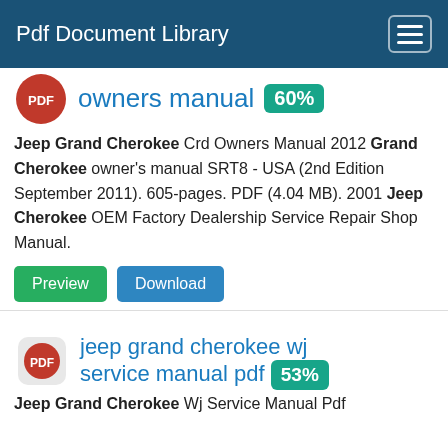Pdf Document Library
owners manual 60%
Jeep Grand Cherokee Crd Owners Manual 2012 Grand Cherokee owner's manual SRT8 - USA (2nd Edition September 2011). 605-pages. PDF (4.04 MB). 2001 Jeep Cherokee OEM Factory Dealership Service Repair Shop Manual.
Preview
Download
jeep grand cherokee wj service manual pdf 53%
Jeep Grand Cherokee Wj Service Manual Pdf